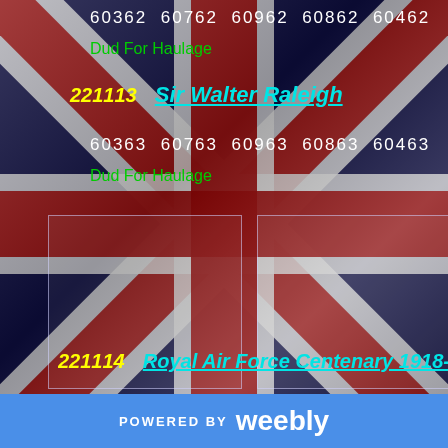[Figure (illustration): Union Jack (UK flag) background image with red, white, and dark blue diagonal and cross stripes filling the entire page]
60362  60762  60962  60862  60462
Dud For Haulage
221113   Sir Walter Raleigh
60363  60763  60963  60863  60463
Dud For Haulage
[Figure (photo): Two empty image placeholder boxes side by side on the Union Jack background]
221114   Royal Air Force Centenary 1918-2018
60364  60764  60964  60864  60464
POWERED BY weebly